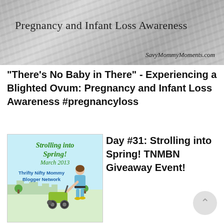[Figure (illustration): Banner image with swirling gray/silver background texture. Title text 'Pregnancy and Infant Loss Awareness' overlaid on top, and 'SavyMommyMoments.com' in italic at bottom right.]
"There's No Baby in There" - Experiencing a Blighted Ovum: Pregnancy and Infant Loss Awareness #pregnancyloss
[Figure (illustration): Strolling into Spring! March 2013 Thrifty Nifty Mommy Blogger Network promotional image showing a woman pushing a green stroller against a light blue sky and green ground background with city silhouette.]
Day #31: Strolling into Spring! TNMBN Giveaway Event!